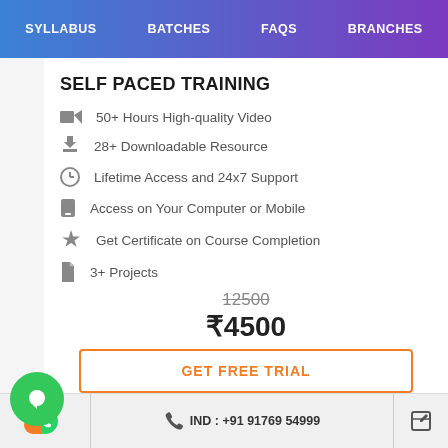SYLLABUS  BATCHES  FAQS  BRANCHES
SELF PACED TRAINING
50+ Hours High-quality Video
28+ Downloadable Resource
Lifetime Access and 24x7 Support
Access on Your Computer or Mobile
Get Certificate on Course Completion
3+ Projects
12500
₹4500
GET FREE TRIAL
IND : +91 91769 54999